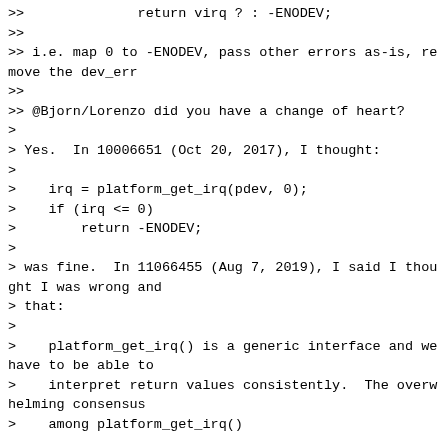>>              return virq ? : -ENODEV;
>>
>> i.e. map 0 to -ENODEV, pass other errors as-is, remove the dev_err
>>
>> @Bjorn/Lorenzo did you have a change of heart?
>
> Yes.  In 10006651 (Oct 20, 2017), I thought:
>
>    irq = platform_get_irq(pdev, 0);
>    if (irq <= 0)
>        return -ENODEV;
>
> was fine.  In 11066455 (Aug 7, 2019), I said I thought I was wrong and
> that:
>
>    platform_get_irq() is a generic interface and we have to be able to
>    interpret return values consistently.  The overwhelming consensus
>    among platform_get_irq()